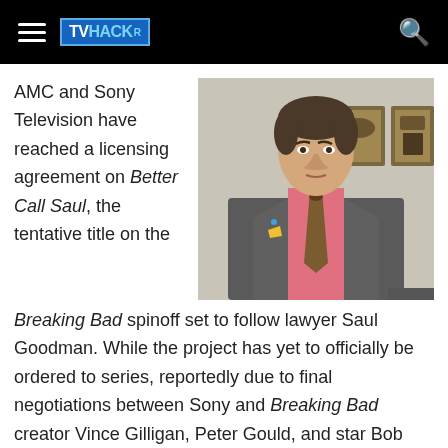TVHACKr
[Figure (photo): Man in gray suit with pink shirt and patterned tie, standing in front of wall art — promotional photo of actor Bob Odenkirk as Saul Goodman]
AMC and Sony Television have reached a licensing agreement on Better Call Saul, the tentative title on the Breaking Bad spinoff set to follow lawyer Saul Goodman. While the project has yet to officially be ordered to series, reportedly due to final negotiations between Sony and Breaking Bad creator Vince Gilligan, Peter Gould, and star Bob Odenkirk, it is said to be a one-hour series set before the events of Breaking Bad and will tell the story of how Saul